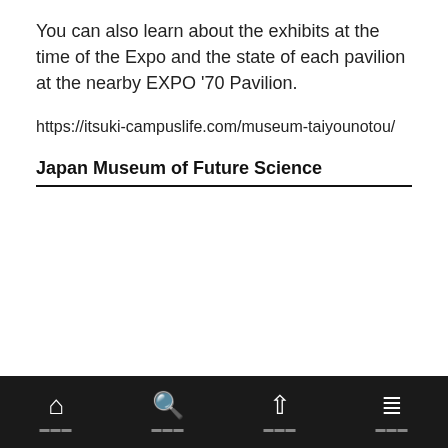You can also learn about the exhibits at the time of the Expo and the state of each pavilion at the nearby EXPO '70 Pavilion.
https://itsuki-campuslife.com/museum-taiyounotou/
Japan Museum of Future Science
[Figure (photo): Exterior photograph of the Japan Museum of Future Science (Miraikan) building, a modern curved glass and steel structure with a large globe logo on its facade.]
Navigation bar with home, search, up, and menu icons